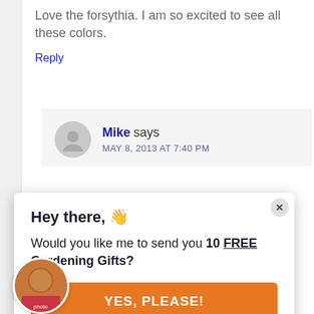Love the forsythia. I am so excited to see all these colors.
Reply
Mike says
MAY 8, 2013 AT 7:40 PM
Hey there, 👋
Would you like me to send you 10 FREE Gardening Gifts?
YES, PLEASE!
back hard. Others around here